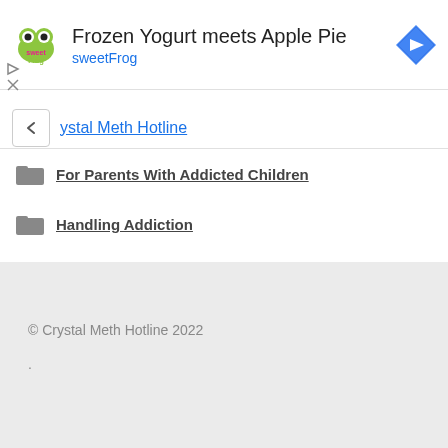[Figure (other): Advertisement banner for sweetFrog frozen yogurt: logo on left, text 'Frozen Yogurt meets Apple Pie' with subtitle 'sweetFrog', blue diamond navigation icon on right]
Crystal Meth Hotline
For Parents With Addicted Children
Handling Addiction
© Crystal Meth Hotline 2022
.